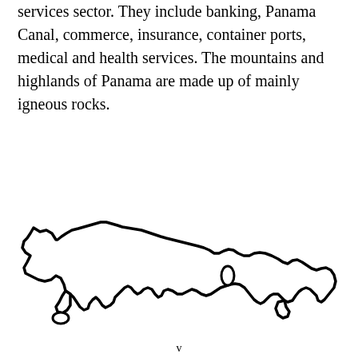services sector. They include banking, Panama Canal, commerce, insurance, container ports, medical and health services. The mountains and highlands of Panama are made up of mainly igneous rocks.
[Figure (map): Outline map of Panama showing the country's distinctive elongated shape with irregular coastlines, peninsulas, and islands.]
v